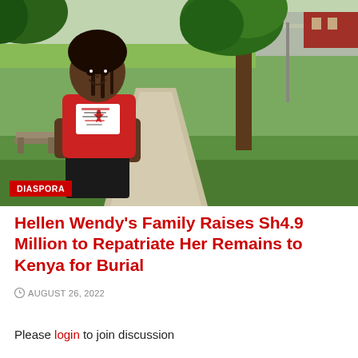[Figure (photo): Young woman smiling, wearing a red t-shirt with a white logo patch reading 'African Canada Toronto', standing outdoors on a sidewalk with green grass, trees, and a road in the background. A bench is visible to her left and a red brick building in the far right background.]
DIASPORA
Hellen Wendy's Family Raises Sh4.9 Million to Repatriate Her Remains to Kenya for Burial
AUGUST 26, 2022
Please login to join discussion